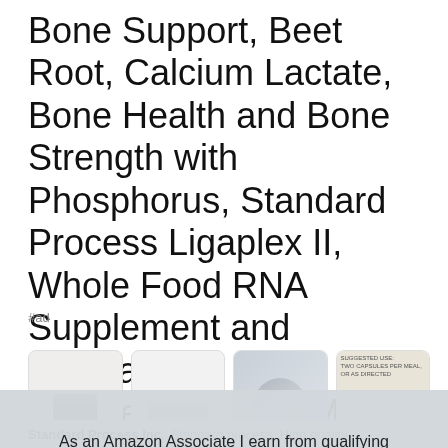Bone Support, Beet Root, Calcium Lactate, Bone Health and Bone Strength with Phosphorus, Standard Process Ligaplex II, Whole Food RNA Supplement and Manganese Supplement, and More, 150 Capsules
#ad
[Figure (photo): Four product image cards showing supplement bottles and related imagery, including a green supplement bottle, boxed product, people smiling, and a supplement label.]
As an Amazon Associate I earn from qualifying purchases. This website uses the only necessary cookies to ensure you get the best experience on our website. More information
Standard Process Inc. Standard process. High quality